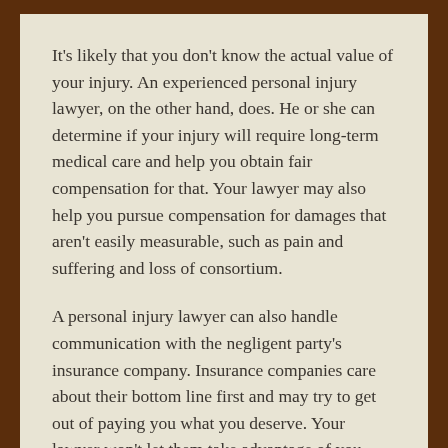It's likely that you don't know the actual value of your injury. An experienced personal injury lawyer, on the other hand, does. He or she can determine if your injury will require long-term medical care and help you obtain fair compensation for that. Your lawyer may also help you pursue compensation for damages that aren't easily measurable, such as pain and suffering and loss of consortium.
A personal injury lawyer can also handle communication with the negligent party's insurance company. Insurance companies care about their bottom line first and may try to get out of paying you what you deserve. Your lawyer won't let them take advantage of you.
How Much Does a Personal Injury Lawyer Cost?
Some people may hesitate about hiring a personal injury lawyer because they don't think they can afford the cost. However, most of these lawyers work on a contingency fee. As such, you don't have to worry about paying your